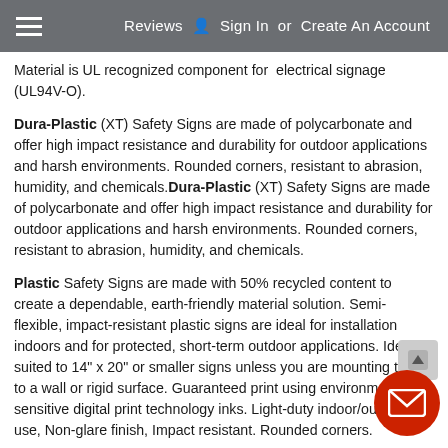Reviews  Sign In or Create An Account
Material is UL recognized component for electrical signage (UL94V-O).
Dura-Plastic (XT) Safety Signs are made of polycarbonate and offer high impact resistance and durability for outdoor applications and harsh environments. Rounded corners, resistant to abrasion, humidity, and chemicals. Dura-Plastic (XT) Safety Signs are made of polycarbonate and offer high impact resistance and durability for outdoor applications and harsh environments. Rounded corners, resistant to abrasion, humidity, and chemicals.
Plastic Safety Signs are made with 50% recycled content to create a dependable, earth-friendly material solution. Semi-flexible, impact-resistant plastic signs are ideal for installation indoors and for protected, short-term outdoor applications. Ideally suited to 14" x 20" or smaller signs unless you are mounting them to a wall or rigid surface. Guaranteed print using environmentally-sensitive digital print technology inks. Light-duty indoor/outdoor use, Non-glare finish, Impact resistant. Rounded corners.